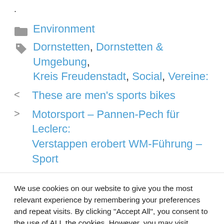.
Environment
Dornstetten, Dornstetten & Umgebung, Kreis Freudenstadt, Social, Vereine:
< These are men's sports bikes
> Motorsport – Pannen-Pech für Leclerc: Verstappen erobert WM-Führung – Sport
We use cookies on our website to give you the most relevant experience by remembering your preferences and repeat visits. By clicking "Accept All", you consent to the use of ALL the cookies. However, you may visit "Cookie Settings" to provide a controlled consent.